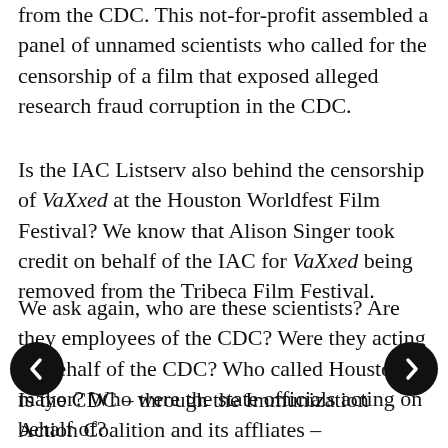from the CDC. This not-for-profit assembled a panel of unnamed scientists who called for the censorship of a film that exposed alleged research fraud corruption in the CDC.
Is the IAC Listserv also behind the censorship of VaXxed at the Houston Worldfest Film Festival? We know that Alison Singer took credit on behalf of the IAC for VaXxed being removed from the Tribeca Film Festival.
We ask again, who are these scientists? Are they employees of the CDC? Were they acting on behalf of the CDC? Who called Houston’s mayor? Who were the state officials acting on behalf of?
Is the CDC – through the Immunization Action Coalition and its affliates – engaged in a continuing pattern of conduct to censor